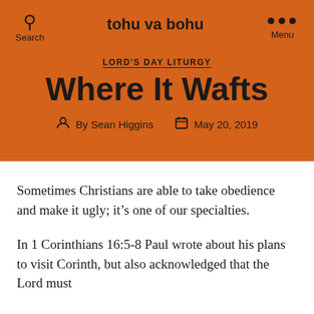tohu va bohu
LORD'S DAY LITURGY
Where It Wafts
By Sean Higgins   May 20, 2019
Sometimes Christians are able to take obedience and make it ugly; it's one of our specialties.
In 1 Corinthians 16:5-8 Paul wrote about his plans to visit Corinth, but also acknowledged that the Lord must